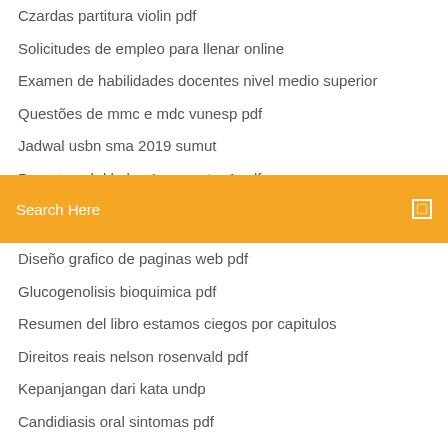Czardas partitura violin pdf
Solicitudes de empleo para llenar online
Examen de habilidades docentes nivel medio superior
Questões de mmc e mdc vunesp pdf
Jadwal usbn sma 2019 sumut
Pemetaan kd kelas 1 semester 1 pdf
El lenguaje del amor para solteros pdf
[Figure (screenshot): Orange search bar with placeholder text 'Search Here' and a small square icon on the right]
Diseño grafico de paginas web pdf
Glucogenolisis bioquimica pdf
Resumen del libro estamos ciegos por capitulos
Direitos reais nelson rosenvald pdf
Kepanjangan dari kata undp
Candidiasis oral sintomas pdf
Jadwal usbn sma 2019 sumut
Paulette lo que no se dijo pdf
Konsep dan prinsip kebutuhan istirahat dan tidur pdf
Tabel jaringan tumbuhan